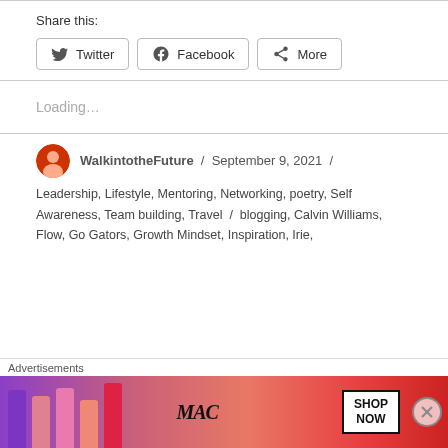Share this:
Twitter   Facebook   More
Loading...
WalkintotheFuture / September 9, 2021 / Leadership, Lifestyle, Mentoring, Networking, poetry, Self Awareness, Team building, Travel / blogging, Calvin Williams, Flow, Go Gators, Growth Mindset, Inspiration, Irie,
[Figure (screenshot): Advertisement banner for MAC cosmetics showing lipsticks and a SHOP NOW button]